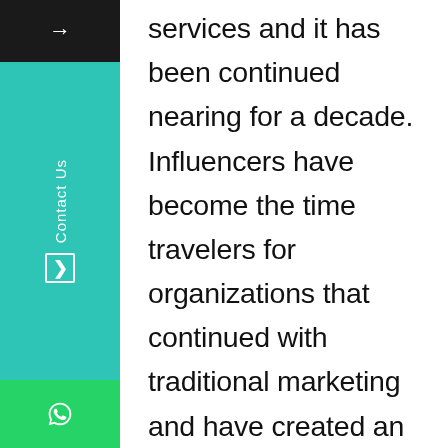services and it has been continued nearing for a decade. Influencers have become the time travelers for organizations that continued with traditional marketing and have created an impact their talented skills. Technology and additional media networks have aroused as a factor has changed the Influencer Marketing game. n instance, until Instagram was launched one recommended Facebook and YouTube marketing platform. Instagram has given extraordinary reach to the brands to market their products with famous influencers. A survey has predicted that influencers can gain much more attention than generic marketing tactics for any